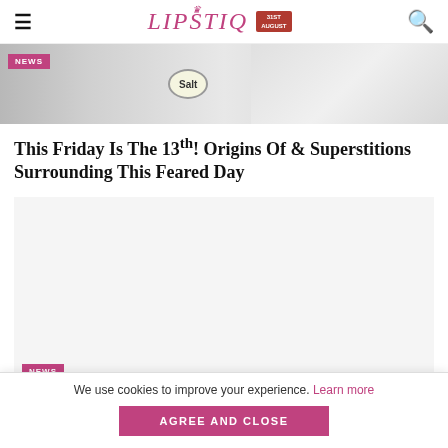LIPSTIQ
[Figure (photo): Hero image showing salt sign and cracked surface with a NEWS badge overlay]
This Friday Is The 13th! Origins Of & Superstitions Surrounding This Feared Day
[Figure (photo): Light grey advertisement block placeholder with NEWS badge at bottom left]
We use cookies to improve your experience. Learn more
AGREE AND CLOSE